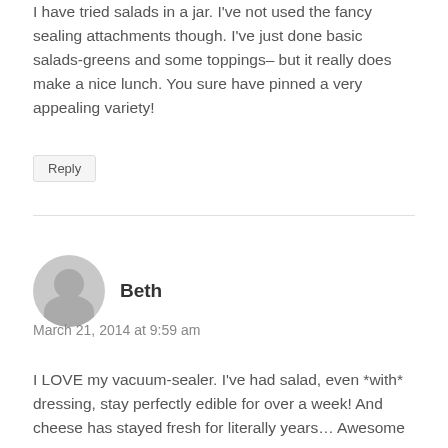I have tried salads in a jar. I've not used the fancy sealing attachments though. I've just done basic salads-greens and some toppings– but it really does make a nice lunch. You sure have pinned a very appealing variety!
Reply
[Figure (illustration): User avatar silhouette icon with circular head and body shape on grey circle background]
Beth
March 21, 2014 at 9:59 am
I LOVE my vacuum-sealer. I've had salad, even *with* dressing, stay perfectly edible for over a week! And cheese has stayed fresh for literally years… Awesome